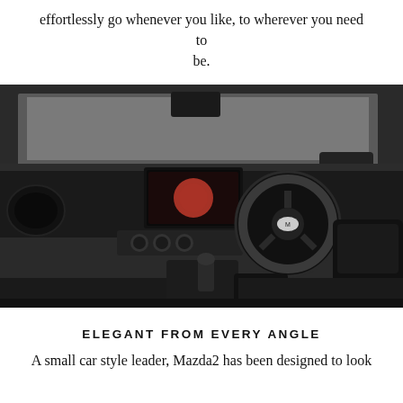effortlessly go whenever you like, to wherever you need to be.
[Figure (photo): Interior of a Mazda2 showing the dashboard, infotainment screen, steering wheel, gear shift, and seats in a black/dark grey interior, photographed from the driver's side door area.]
ELEGANT FROM EVERY ANGLE
A small car style leader, Mazda2 has been designed to look